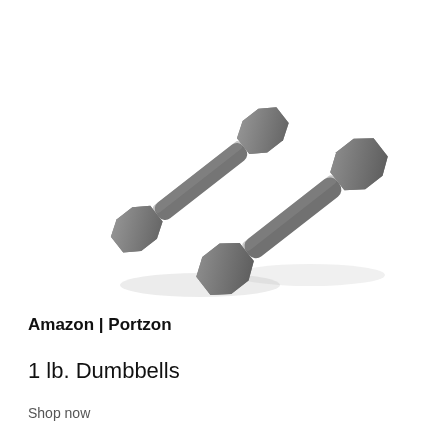[Figure (photo): Two gray hexagonal dumbbells (1 lb.) photographed from above on a white background, arranged diagonally with one slightly behind the other.]
Amazon | Portzon
1 lb. Dumbbells
Shop now